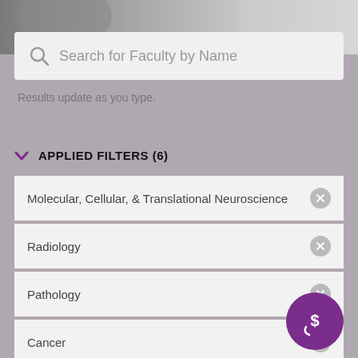[Figure (photo): Background photo strip at top of page showing blurred outdoor/person scene]
Search for Faculty by Name
Results update as you type.
APPLIED FILTERS (6)
Molecular, Cellular, & Translational Neuroscience
Radiology
Pathology
Cancer
Biophysics